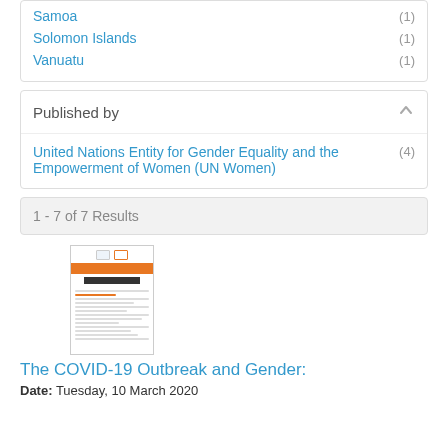Samoa (1)
Solomon Islands (1)
Vanuatu (1)
Published by
United Nations Entity for Gender Equality and the Empowerment of Women (UN Women) (4)
1 - 7 of 7 Results
[Figure (screenshot): Thumbnail of a document titled 'The COVID-19 Outbreak and Gender' with orange banner and text lines]
The COVID-19 Outbreak and Gender:
Date: Tuesday, 10 March 2020